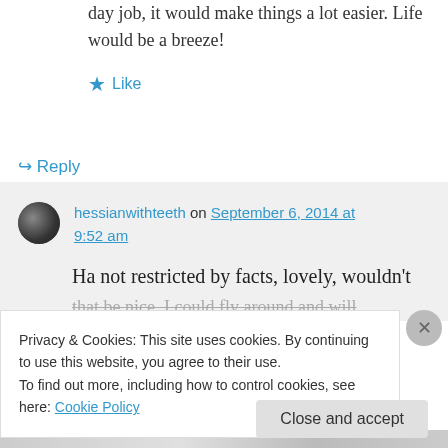day job, it would make things a lot easier. Life would be a breeze!
★ Like
↪ Reply
hessianwithteeth on September 6, 2014 at 9:52 am
Ha not restricted by facts, lovely, wouldn't that be nice, I could fly around and will
Privacy & Cookies: This site uses cookies. By continuing to use this website, you agree to their use.
To find out more, including how to control cookies, see here: Cookie Policy
Close and accept